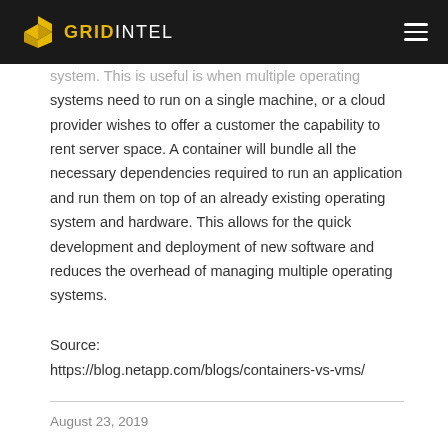GridIntel
system. This is useful is when multiple operating systems need to run on a single machine, or a cloud provider wishes to offer a customer the capability to rent server space. A container will bundle all the necessary dependencies required to run an application and run them on top of an already existing operating system and hardware. This allows for the quick development and deployment of new software and reduces the overhead of managing multiple operating systems.
Source:
https://blog.netapp.com/blogs/containers-vs-vms/
August 23, 2019